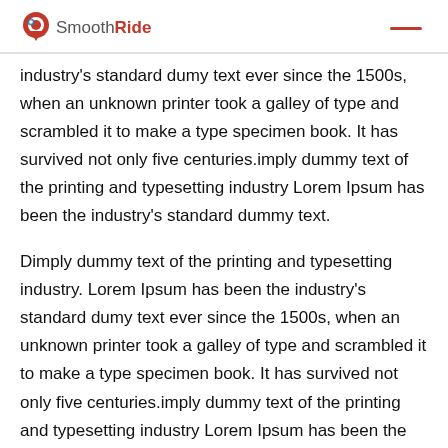SmoothRide
industry's standard dumy text ever since the 1500s, when an unknown printer took a galley of type and scrambled it to make a type specimen book. It has survived not only five centuries.imply dummy text of the printing and typesetting industry Lorem Ipsum has been the industry's standard dummy text.
Dimply dummy text of the printing and typesetting industry. Lorem Ipsum has been the industry's standard dumy text ever since the 1500s, when an unknown printer took a galley of type and scrambled it to make a type specimen book. It has survived not only five centuries.imply dummy text of the printing and typesetting industry Lorem Ipsum has been the industry's standard dummy text. Dimply dummy text of the printing and typesetting industry. Lorem Ipsum has been the industry's standard dumy text ever since the 1500s, when an